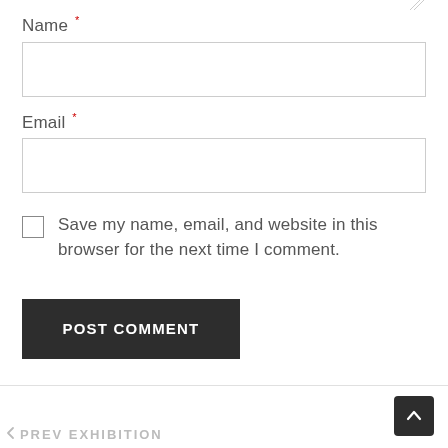Name *
Email *
Save my name, email, and website in this browser for the next time I comment.
POST COMMENT
PREV EXHIBITION